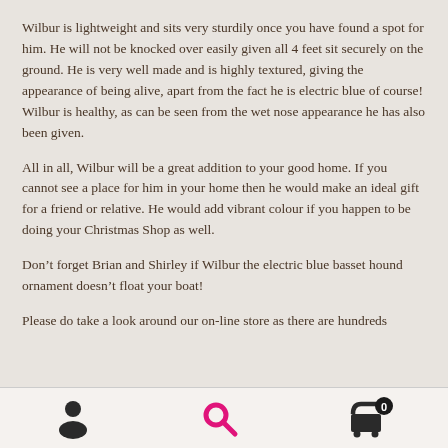Wilbur is lightweight and sits very sturdily once you have found a spot for him. He will not be knocked over easily given all 4 feet sit securely on the ground. He is very well made and is highly textured, giving the appearance of being alive, apart from the fact he is electric blue of course! Wilbur is healthy, as can be seen from the wet nose appearance he has also been given.
All in all, Wilbur will be a great addition to your good home. If you cannot see a place for him in your home then he would make an ideal gift for a friend or relative. He would add vibrant colour if you happen to be doing your Christmas Shop as well.
Don’t forget Brian and Shirley if Wilbur the electric blue basset hound ornament doesn’t float your boat!
Please do take a look around our on-line store as there are hundreds
[Figure (other): Bottom navigation bar with person/account icon (dark), search icon (pink/magenta), and shopping cart icon with badge showing 0 (dark)]